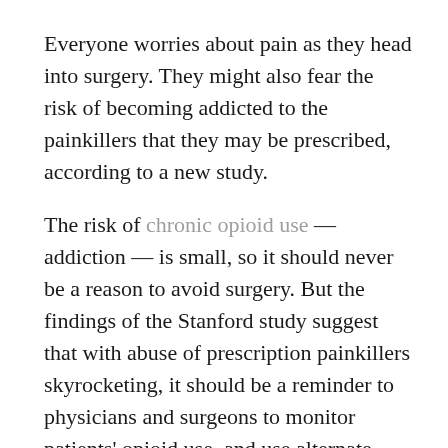Everyone worries about pain as they head into surgery. They might also fear the risk of becoming addicted to the painkillers that they may be prescribed, according to a new study.
The risk of chronic opioid use — addiction — is small, so it should never be a reason to avoid surgery. But the findings of the Stanford study suggest that with abuse of prescription painkillers skyrocketing, it should be a reminder to physicians and surgeons to monitor patients' opioid use, and use alternate methods of pain control if possible, Eric Sun, lead author of the study, told TheDoctor.
Many surgical procedures are associated with an increased risk of chronic opioid use in the postoperative period, even among people who have